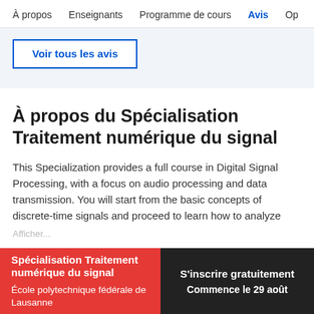À propos   Enseignants   Programme de cours   Avis   Op
[Figure (screenshot): Button labeled 'Voir tous les avis' with blue border on light blue/grey background]
À propos du Spécialisation Traitement numérique du signal
This Specialization provides a full course in Digital Signal Processing, with a focus on audio processing and data transmission. You will start from the basic concepts of discrete-time signals and proceed to learn how to analyze
Afficher...
Spécialisation Traitement numérique du signal
École polytechnique fédérale de Lausanne
S'inscrire gratuitement
Commence le 29 août